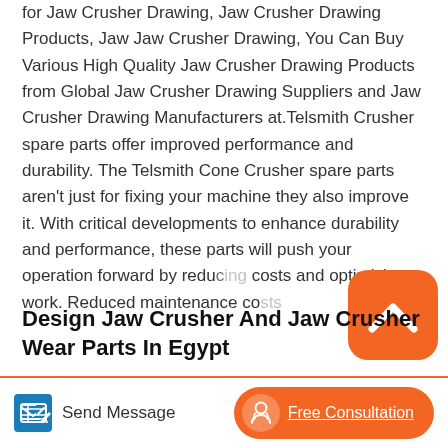for Jaw Crusher Drawing, Jaw Crusher Drawing Products, Jaw Jaw Crusher Drawing, You Can Buy Various High Quality Jaw Crusher Drawing Products from Global Jaw Crusher Drawing Suppliers and Jaw Crusher Drawing Manufacturers at.Telsmith Crusher spare parts offer improved performance and durability. The Telsmith Cone Crusher spare parts aren't just for fixing your machine they also improve it. With critical developments to enhance durability and performance, these parts will push your operation forward by reducing costs and optimising work. Reduced maintenance co...
Design Jaw Crusher And Jaw Crusher Wear Parts In Egypt
Spaulding Crusher Parts, Rock Crusher Parts for Symons, Gryradisc, and HP Crushers SEC Parts is a leading
[Figure (other): Orange rounded square badge with white upward chevron/caret icon]
[Figure (other): Send Message button with blue pencil/paper icon]
[Figure (other): Orange rounded pill Free Consultation button with white headset icon]